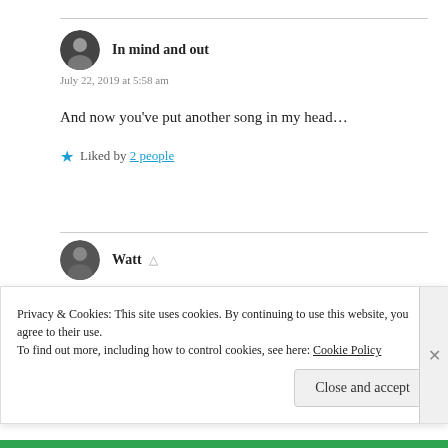In mind and out
July 22, 2019 at 5:58 am
And now you’ve put another song in my head…
Liked by 2 people
Watt
July 22, 2019 at 6:19 am
Hope you don’t mind. But then again hope is a
Privacy & Cookies: This site uses cookies. By continuing to use this website, you agree to their use. To find out more, including how to control cookies, see here: Cookie Policy
Close and accept